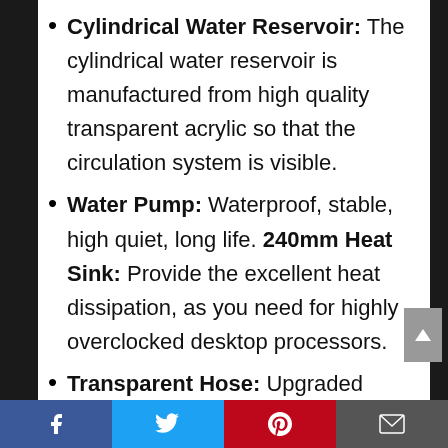Cylindrical Water Reservoir: The cylindrical water reservoir is manufactured from high quality transparent acrylic so that the circulation system is visible.
Water Pump: Waterproof, stable, high quiet, long life. 240mm Heat Sink: Provide the excellent heat dissipation, as you need for highly overclocked desktop processors.
Transparent Hose: Upgraded flexible anti-explosion, hoses enable a space-saving installation and exceptional durability.
LED Fan: The extreme performance
Facebook | Twitter | Pinterest | Email